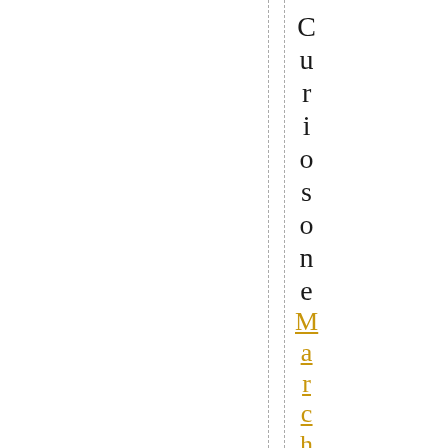Curiosone March 29, 2015 at 2:17p